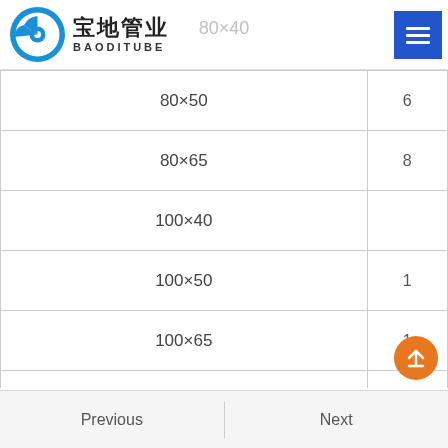宝地管业 BAODITUBE — 80×40
| 规格 |  |
| --- | --- |
| 80×50 | 6 |
| 80×65 | 8 |
| 100×40 |  |
| 100×50 | 1 |
| 100×65 | 1 |
| 100×80 | 1 |
Previous | Next